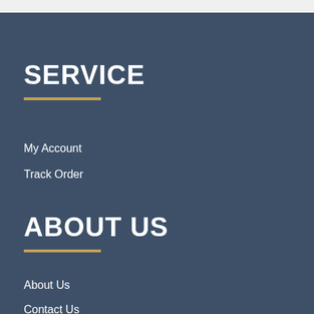SERVICE
My Account
Track Order
ABOUT US
About Us
Contact Us